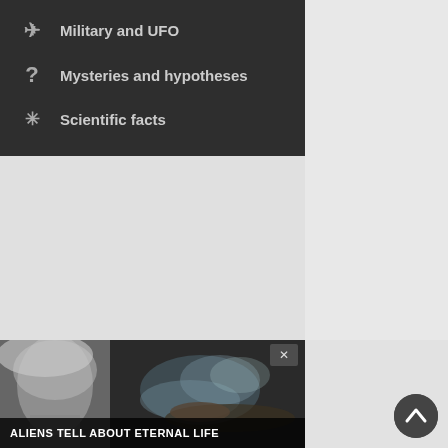Military and UFO
Mysteries and hypotheses
Scientific facts
[Figure (screenshot): Facebook Follow button with blue background and f icon]
[Figure (photo): Promotional image showing a person and ghostly/ethereal figure with text overlay 'ALIENS TELL ABOUT ETERNAL LIFE']
[Figure (other): Circular scroll-to-top button with up arrow chevron on right column]